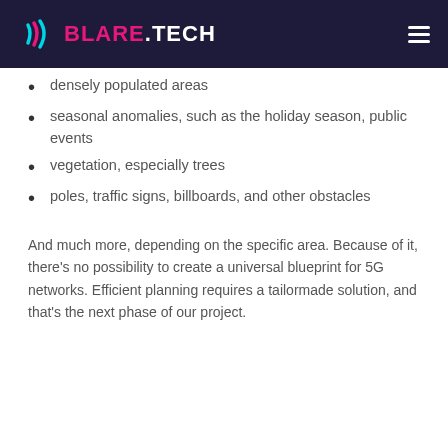BLARE.TECH
densely populated areas
seasonal anomalies, such as the holiday season, public events
vegetation, especially trees
poles, traffic signs, billboards, and other obstacles
And much more, depending on the specific area. Because of it, there’s no possibility to create a universal blueprint for 5G networks. Efficient planning requires a tailormade solution, and that’s the next phase of our project.